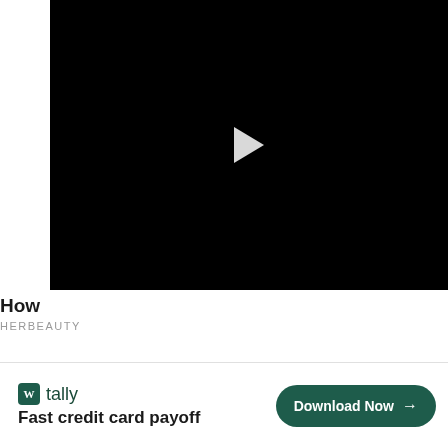[Figure (screenshot): Black video player with white play button triangle in the center]
How
HERBEAUTY
[Figure (screenshot): Tally app advertisement banner: tally logo, 'Fast credit card payoff' tagline, Download Now button, close/question icons]